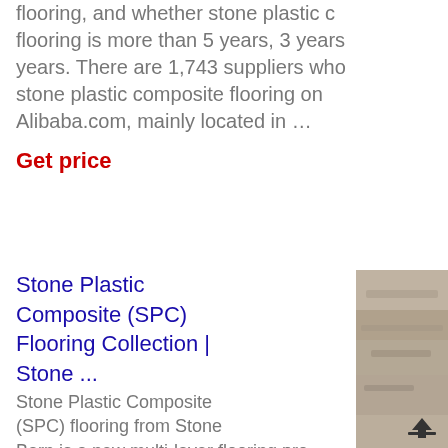flooring, and whether stone plastic composite flooring is more than 5 years, 3 years, years. There are 1,743 suppliers who stone plastic composite flooring on Alibaba.com, mainly located in …
Get price
Stone Plastic Composite (SPC) Flooring Collection | Stone ...
Stone Plastic Composite (SPC) flooring from Stone Barn is a new multi-layer flooring pro
[Figure (photo): Close-up photo of stone plastic composite flooring texture with wood grain pattern in grey/beige tones]